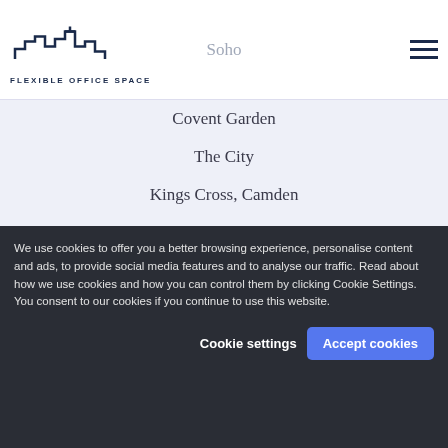[Figure (logo): Flexible Office Space logo with stylized building skyline silhouette in dark navy above the text 'FLEXIBLE OFFICE SPACE']
Soho
Covent Garden
The City
Kings Cross, Camden
Victoria
Chelsea / Fulham
Clerkenwell / Shoreditch
Hammersmith
Midtown
Canary Wharf
Old Street
We use cookies to offer you a better browsing experience, personalise content and ads, to provide social media features and to analyse our traffic. Read about how we use cookies and how you can control them by clicking Cookie Settings. You consent to our cookies if you continue to use this website.
Cookie settings
Accept cookies